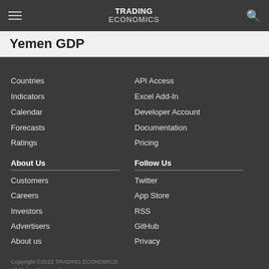TRADING ECONOMICS
Yemen GDP
Countries
Indicators
Calendar
Forecasts
Ratings
API Access
Excel Add-In
Developer Account
Documentation
Pricing
About Us
Customers
Careers
Investors
Advertisers
About us
Follow Us
Twitter
App Store
RSS
GitHub
Privacy
Copyright ©2022 TRADING ECONOMICS
All Rights Reserved